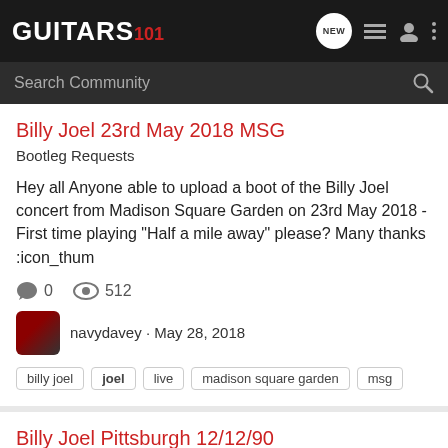GUITARS 101
Billy Joel 23rd May 2018 MSG
Bootleg Requests
Hey all Anyone able to upload a boot of the Billy Joel concert from Madison Square Garden on 23rd May 2018 - First time playing "Half a mile away" please? Many thanks :icon_thum
0 comments, 512 views
navydavey · May 28, 2018
billy joel
joel
live
madison square garden
msg
Billy Joel Pittsburgh 12/12/90
Bootleg Requests
I'm looking for one of Billys concerts from Pittsburgh in 1990.